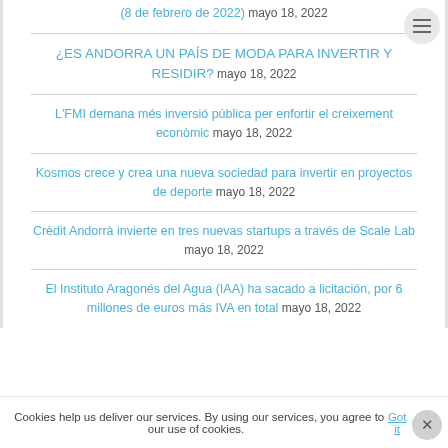(8 de febrero de 2022) mayo 18, 2022
¿ES ANDORRA UN PAÍS DE MODA PARA INVERTIR Y RESIDIR? mayo 18, 2022
L'FMI demana més inversió pública per enfortir el creixement econòmic mayo 18, 2022
Kosmos crece y crea una nueva sociedad para invertir en proyectos de deporte mayo 18, 2022
Crèdit Andorrà invierte en tres nuevas startups a través de Scale Lab mayo 18, 2022
El Instituto Aragonés del Agua (IAA) ha sacado a licitación, por 6 millones de euros más IVA en total mayo 18, 2022
Cookies help us deliver our services. By using our services, you agree to our use of cookies. Got it